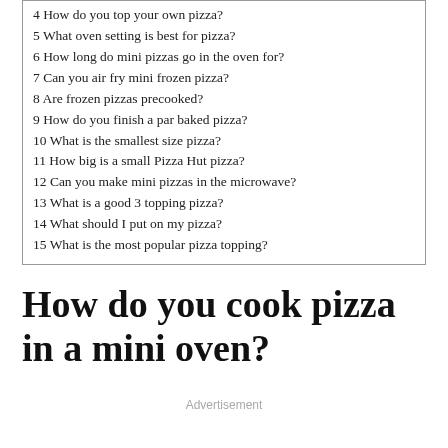4 How do you top your own pizza?
5 What oven setting is best for pizza?
6 How long do mini pizzas go in the oven for?
7 Can you air fry mini frozen pizza?
8 Are frozen pizzas precooked?
9 How do you finish a par baked pizza?
10 What is the smallest size pizza?
11 How big is a small Pizza Hut pizza?
12 Can you make mini pizzas in the microwave?
13 What is a good 3 topping pizza?
14 What should I put on my pizza?
15 What is the most popular pizza topping?
How do you cook pizza in a mini oven?
Advertisement